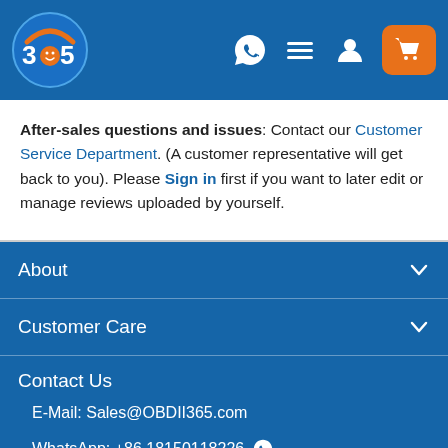[Figure (logo): OBDII365 logo with '365' text and smiley face in blue circle on blue header bar]
After-sales questions and issues: Contact our Customer Service Department. (A customer representative will get back to you). Please Sign in first if you want to later edit or manage reviews uploaded by yourself.
About
Customer Care
Contact Us
E-Mail: Sales@OBDII365.com
WhatsApp: +86 18150118226
Tel: +86 18150118226